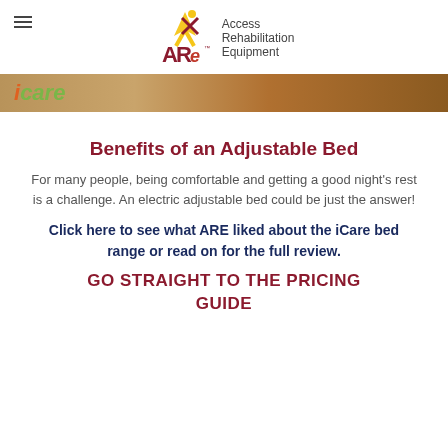Access Rehabilitation Equipment
[Figure (photo): iCare branded banner image with wooden/brown textured background]
Benefits of an Adjustable Bed
For many people, being comfortable and getting a good night’s rest is a challenge. An electric adjustable bed could be just the answer!
Click here to see what ARE liked about the iCare bed range or read on for the full review.
GO STRAIGHT TO THE PRICING GUIDE